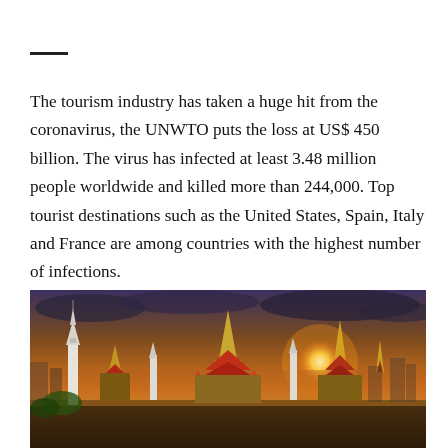—
The tourism industry has taken a huge hit from the coronavirus, the UNWTO puts the loss at US$ 450 billion. The virus has infected at least 3.48 million people worldwide and killed more than 244,000. Top tourist destinations such as the United States, Spain, Italy and France are among countries with the highest number of infections.
[Figure (photo): Panoramic view of ornate Thai temple complex (Grand Palace, Bangkok) at sunset with golden and orange sky]